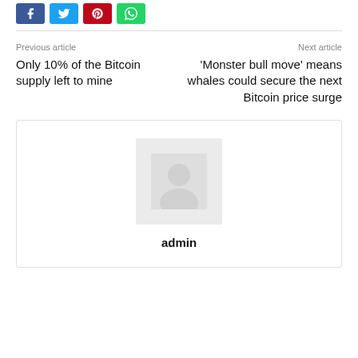[Figure (other): Social share buttons: Facebook (blue), Twitter (cyan), Pinterest (red), WhatsApp (green)]
Previous article
Only 10% of the Bitcoin supply left to mine
Next article
'Monster bull move' means whales could secure the next Bitcoin price surge
[Figure (other): Admin author card with placeholder avatar image and bold text 'admin']